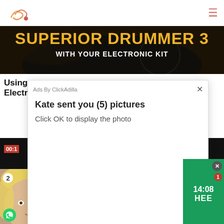[Figure (screenshot): Screenshot of a webpage showing a Superior Drummer 3 article page with a ClickAdilla ad popup overlay. The popup reads 'Kate sent you (5) pictures / Click OK to display the photo'. Background shows hero banner with yellow 'SUPERIOR DRUMMER 3' text and white 'WITH YOUR ELECTRONIC KIT' subtitle on dark background. Page title 'Using... Electr...' visible behind popup. Bottom shows video thumbnails with timestamp 00:1x. Bottom-right shows a green notification widget with time 14:08 and 'HEE' label. Bottom-left shows a profile photo of a blonde woman with WhatsApp icon.]